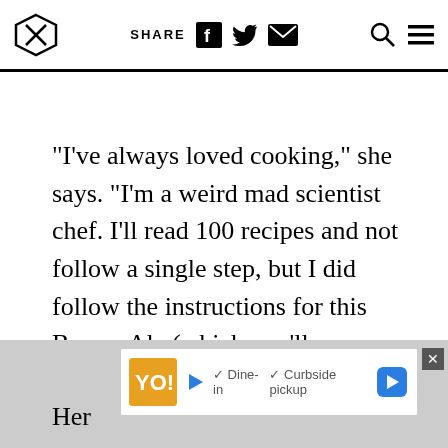SHARE [social icons] [search] [menu]
“I’ve always loved cooking,” she says. “I’m a weird mad scientist chef. I’ll read 100 recipes and not follow a single step, but I did follow the instructions for this Brown Ale (which you’ll never catch me making again) and that homebrew was the best out of my first five homebrews.”
Her
[Figure (screenshot): Advertisement banner showing food delivery service with Dine-in and Curbside pickup options]